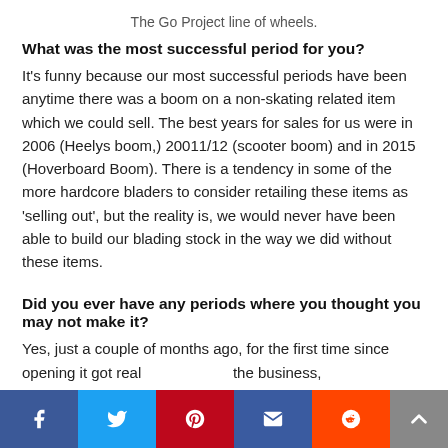The Go Project line of wheels.
What was the most successful period for you?
It’s funny because our most successful periods have been anytime there was a boom on a non-skating related item which we could sell. The best years for sales for us were in 2006 (Heelys boom,) 20011/12 (scooter boom) and in 2015 (Hoverboard Boom). There is a tendency in some of the more hardcore bladers to consider retailing these items as ‘selling out’, but the reality is, we would never have been able to build our blading stock in the way we did without these items.
Did you ever have any periods where you thought you may not make it?
Yes, just a couple of months ago, for the first time since opening it got real the business,